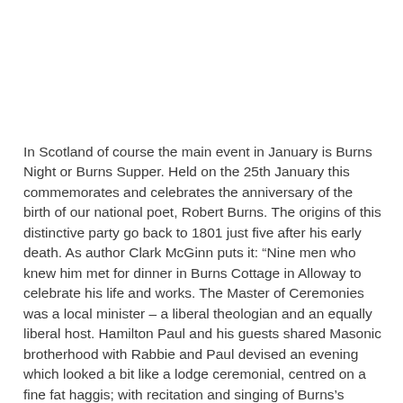In Scotland of course the main event in January is Burns Night or Burns Supper.  Held on the 25th January this commemorates and celebrates the anniversary of the birth of our national poet, Robert Burns.    The origins of this distinctive party go back to 1801 just five after his early death.  As author Clark McGinn puts it:  “Nine men who knew him met for dinner in Burns Cottage in Alloway to celebrate his life and works. The Master of Ceremonies was a local minister – a liberal theologian and an equally liberal host. Hamilton Paul and his guests shared Masonic brotherhood with Rabbie and Paul devised an evening which looked a bit like a lodge ceremonial, centred on a fine fat haggis; with recitation and singing of Burns’s works and a toast (in verse) to the memory of their friend and hero.
It was such a jolly evening, all agreed to meet again the following January for a Birthday Dinner for the bard, little